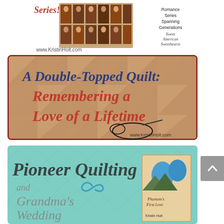[Figure (illustration): Top banner showing a Western Romance book series with multiple book covers arranged in a grid, text reading 'Series!', 'www.KristinHolt.com', 'Romance Series Spanning Generations', and a script logo 'Sweet American Sweethearts']
[Figure (illustration): Article banner image with quilt pattern background. Title text in script: 'A Double-Topped Quilt: Remembering a Love of a Lifetime' with a needle and thread graphic and 'www.KristinHolt.com' watermark]
[Figure (illustration): Teal/mint colored banner with diamond pattern. Title text: 'Pioneer Quilting Bees and Grandma's Wedding Quilts Series' in script font, with a book cover image on the right showing 'Phantom's First Love' by Kristin Holt]